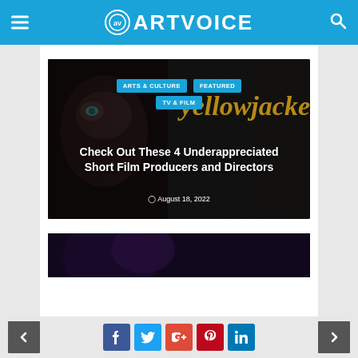ARTVOICE
[Figure (photo): Article thumbnail showing a close-up of a person's face in dark tones with 'Yellowjackets' text overlay in gold italic font, category badges for ARTS & CULTURE, FEATURED, TV & FILM, article title 'Check Out These 4 Underappreciated Short Film Producers and Directors', date August 18, 2022]
[Figure (photo): Partial view of a second article thumbnail with dark purple/blue tones, partially cut off at bottom]
Social share buttons: Facebook, Twitter, Google+, Pinterest, LinkedIn. Navigation arrows left and right.